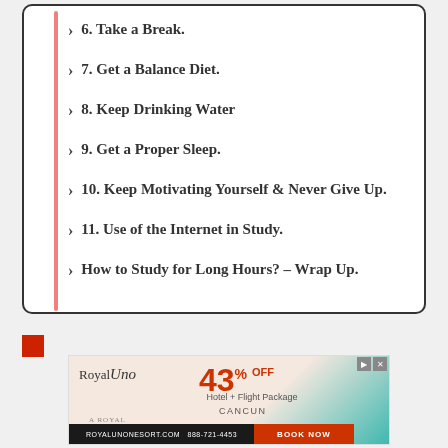6. Take a Break.
7. Get a Balance Diet.
8. Keep Drinking Water
9. Get a Proper Sleep.
10. Keep Motivating Yourself & Never Give Up.
11. Use of the Internet in Study.
How to Study for Long Hours? – Wrap Up.
[Figure (other): Advertisement for Royal Uno resort: 43% OFF Hotel + Flight Package, Cancun. Book Now. royalunonesort.com 888-721-4453]